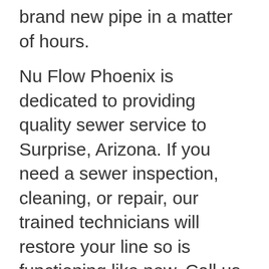brand new pipe in a matter of hours.
Nu Flow Phoenix is dedicated to providing quality sewer service to Surprise, Arizona. If you need a sewer inspection, cleaning, or repair, our trained technicians will restore your line so is functioning like new. Call us today to learn more about our services or to schedule an appointment.
Contact Us